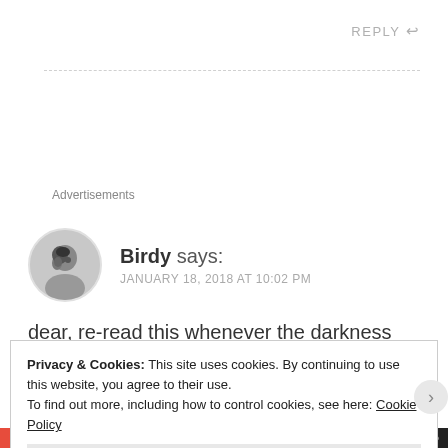REPLY ↩
Advertisements
[Figure (photo): Circular avatar photo of a person (Birdy) in black and white, side profile view]
Birdy says: JANUARY 18, 2018 AT 10:02 PM
dear, re-read this whenever the darkness begins to
Privacy & Cookies: This site uses cookies. By continuing to use this website, you agree to their use.
To find out more, including how to control cookies, see here: Cookie Policy
Close and accept